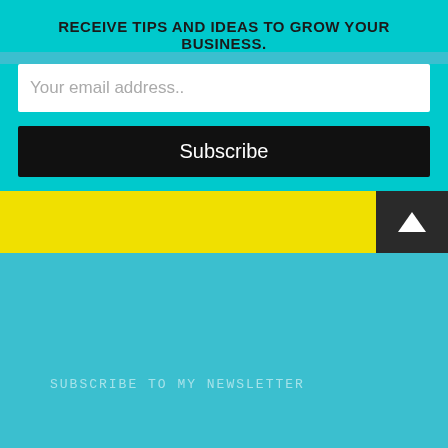RECEIVE TIPS AND IDEAS TO GROW YOUR BUSINESS.
Your email address..
Subscribe
SUBSCRIBE TO MY NEWSLETTER